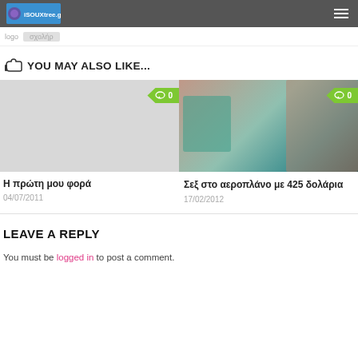iSouxtree.gr
YOU MAY ALSO LIKE...
[Figure (photo): Left card: light grey placeholder image]
[Figure (photo): Right card: photo of teal/green cushion on a surface with a hand]
Η πρώτη μου φορά
04/07/2011
Σεξ στο αεροπλάνο με 425 δολάρια
17/02/2012
LEAVE A REPLY
You must be logged in to post a comment.